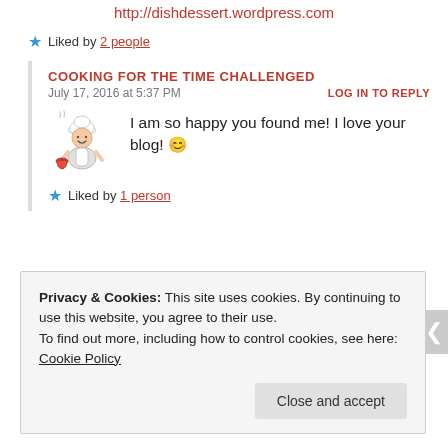http://dishdessert.wordpress.com
Liked by 2 people
COOKING FOR THE TIME CHALLENGED
July 17, 2016 at 5:37 PM
LOG IN TO REPLY
[Figure (illustration): Chef avatar illustration showing a cartoon chef with a bowl]
I am so happy you found me! I love your blog! 😊
Liked by 1 person
Privacy & Cookies: This site uses cookies. By continuing to use this website, you agree to their use. To find out more, including how to control cookies, see here: Cookie Policy
Close and accept